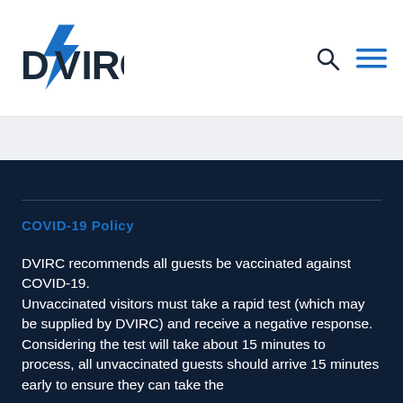[Figure (logo): DVIRC logo with blue lightning bolt and stylized lettering]
COVID-19 Policy
DVIRC recommends all guests be vaccinated against COVID-19. Unvaccinated visitors must take a rapid test (which may be supplied by DVIRC) and receive a negative response. Considering the test will take about 15 minutes to process, all unvaccinated guests should arrive 15 minutes early to ensure they can take the